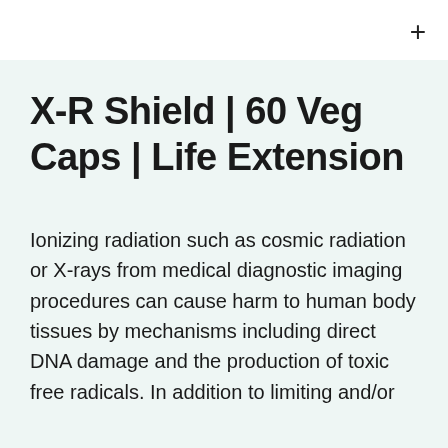X-R Shield | 60 Veg Caps | Life Extension
Ionizing radiation such as cosmic radiation or X-rays from medical diagnostic imaging procedures can cause harm to human body tissues by mechanisms including direct DNA damage and the production of toxic free radicals. In addition to limiting and/or